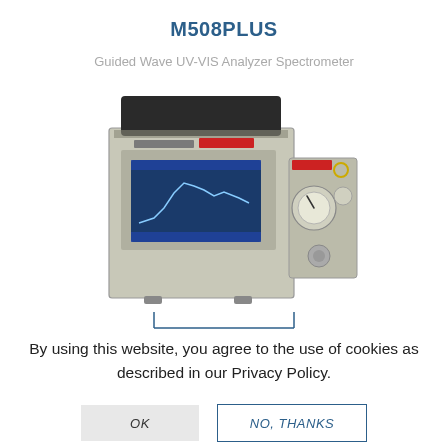M508PLUS
Guided Wave UV-VIS Analyzer Spectrometer
[Figure (photo): Front view of the M508PLUS Guided Wave UV-VIS Analyzer Spectrometer, a metal enclosure with a touchscreen display showing spectral data, a red warning label, and an attached side panel with gauges and controls.]
By using this website, you agree to the use of cookies as described in our Privacy Policy.
OK
NO, THANKS